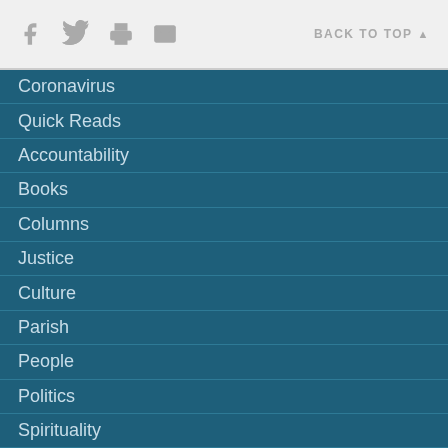Social icons | BACK TO TOP
Coronavirus
Quick Reads
Accountability
Books
Columns
Justice
Culture
Parish
People
Politics
Spirituality